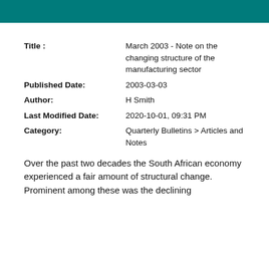| Field | Value |
| --- | --- |
| Title : | March 2003 - Note on the changing structure of the manufacturing sector |
| Published Date: | 2003-03-03 |
| Author: | H Smith |
| Last Modified Date: | 2020-10-01, 09:31 PM |
| Category: | Quarterly Bulletins > Articles and Notes |
Over the past two decades the South African economy experienced a fair amount of structural change. Prominent among these was the declining